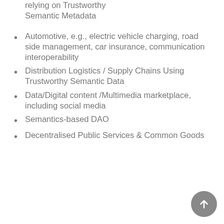Smart City Applications relying on Trustworthy Semantic Metadata
Automotive, e.g., electric vehicle charging, road side management, car insurance, communication interoperability
Distribution Logistics / Supply Chains Using Trustworthy Semantic Data
Data/Digital content /Multimedia marketplace, including social media
Semantics-based DAO
Decentralised Public Services & Common Goods